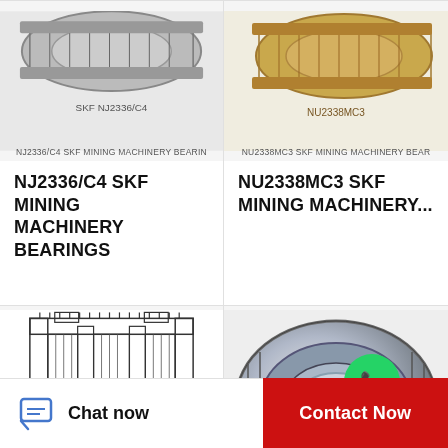[Figure (photo): NJ2336/C4 SKF mining machinery bearing - partial view of cylindrical roller bearing]
NJ2336/C4 SKF MINING MACHINERY BEARIN
NJ2336/C4 SKF MINING MACHINERY BEARINGS
[Figure (photo): NU2338MC3 SKF mining machinery bearing - partial view of gold/bronze toned cylindrical roller bearing]
NU2338MC3 SKF MINING MACHINERY BEAR
NU2338MC3 SKF MINING MACHINERY...
[Figure (engineering-diagram): NU2334MC3 SKF mining machinery bearing - technical cross-section schematic drawing with dimension lines]
NU2334MC3 SKF MINING MACHINERY BEAR
NU2334MC3 SKF MINING MACHINERY...
[Figure (photo): NU2332MC3 SKF mining machinery bearing - photo of chrome/silver cylindrical roller bearing with WhatsApp Online overlay]
NU2332MC3 SKF MINING MACHINERY BEAR
NU2332MC3 SKF MINING MACHINERY...
Chat now
Contact Now